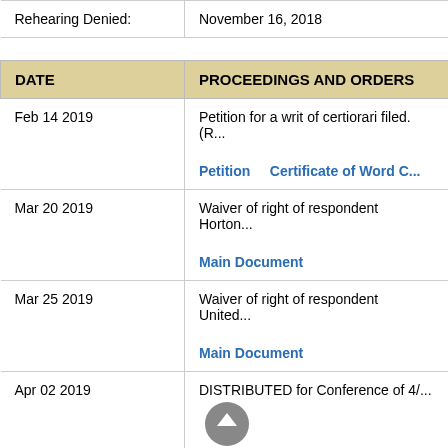| DATE | PROCEEDINGS AND ORDERS |
| --- | --- |
| Rehearing Denied: | November 16, 2018 |
|  |  |
| Feb 14 2019 | Petition for a writ of certiorari filed. (R...)
Petition   Certificate of Word C... |
| Mar 20 2019 | Waiver of right of respondent Horton...
Main Document |
| Mar 25 2019 | Waiver of right of respondent United...
Main Document |
| Apr 02 2019 | DISTRIBUTED for Conference of 4/... |
| Apr 22 2019 | Petition DENIED. |